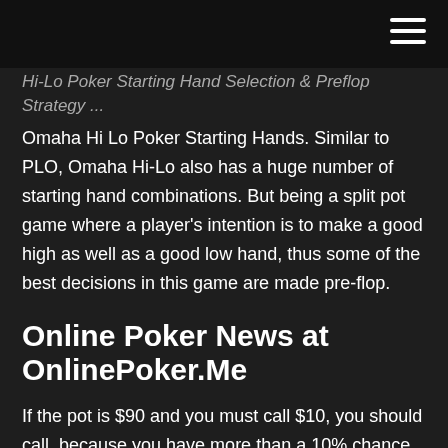Hi-Lo Poker Starting Hand Selection & Preflop Strategy ...
Omaha Hi Lo Poker Starting Hands. Similar to PLO, Omaha Hi-Lo also has a huge number of starting hand combinations. But being a split pot game where a player's intention is to make a good high as well as a good low hand, thus some of the best decisions in this game are made pre-flop.
Online Poker News at OnlinePoker.Me
If the pot is $90 and you must call $10, you should call, because you have more than a 10% chance to hit ($10 / $100). However, if the bet to you is $20, you should fold, because that would require a 18.2% chance of hitting ($20 /